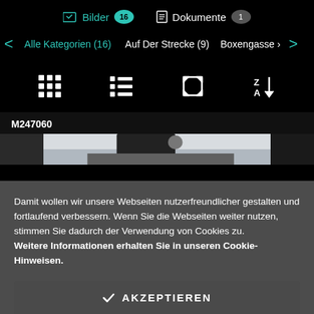Bilder 16   Dokumente 1
Alle Kategorien (16)   Auf Der Strecke (9)   Boxengasse (…
[Figure (screenshot): View toggle icons: grid view, list view, fullscreen view, Z-A sort]
M247060
[Figure (photo): Partial photo strip showing a car or motorsport scene]
Damit wollen wir unsere Webseiten nutzerfreundlicher gestalten und fortlaufend verbessern. Wenn Sie die Webseiten weiter nutzen, stimmen Sie dadurch der Verwendung von Cookies zu. Weitere Informationen erhalten Sie in unseren Cookie-Hinweisen.
AKZEPTIEREN